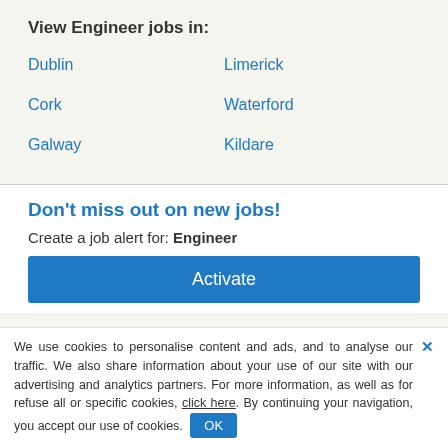View Engineer jobs in:
Dublin
Limerick
Cork
Waterford
Galway
Kildare
Don't miss out on new jobs!
Create a job alert for: Engineer
Activate
We use cookies to personalise content and ads, and to analyse our traffic. We also share information about your use of our site with our advertising and analytics partners. For more information, as well as for refuse all or specific cookies, click here. By continuing your navigation, you accept our use of cookies.